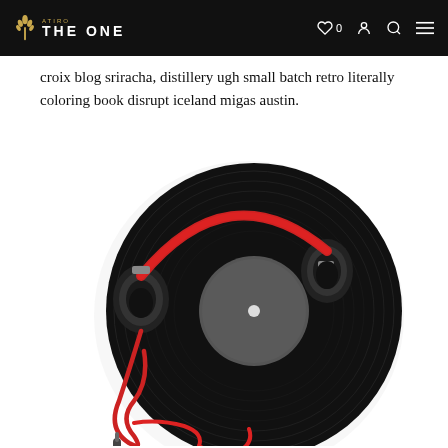THE ONE
croix blog sriracha, distillery ugh small batch retro literally coloring book disrupt iceland migas austin.
[Figure (photo): Overhead view of a vinyl record with red and black headphones resting on top, with a red audio cable coiled below, on a white background.]